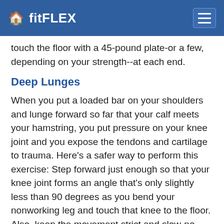fitFLEX
touch the floor with a 45-pound plate-or a few, depending on your strength--at each end.
Deep Lunges
When you put a loaded bar on your shoulders and lunge forward so far that your calf meets your hamstring, you put pressure on your knee joint and you expose the tendons and cartilage to trauma. Here's a safer way to perform this exercise: Step forward just enough so that your knee joint forms an angle that's only slightly less than 90 degrees as you bend your nonworking leg and touch that knee to the floor. Also, keep the movement strict and slow-no bouncing.
Above-Parallel Hyperextensions
When you raise your torso above parallel to the floor on